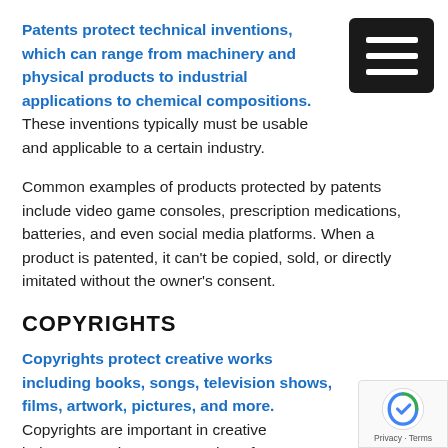Patents protect technical inventions, which can range from machinery and physical products to industrial applications to chemical compositions. These inventions typically must be usable and applicable to a certain industry.
Common examples of products protected by patents include video game consoles, prescription medications, batteries, and even social media platforms. When a product is patented, it can't be copied, sold, or directly imitated without the owner's consent.
COPYRIGHTS
Copyrights protect creative works including books, songs, television shows, films, artwork, pictures, and more. Copyrights are important in creative industries as they prevent others from emulating existing works too closely and allow creators access to profits and